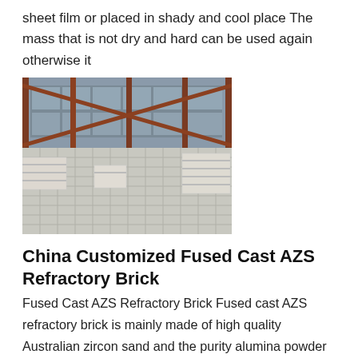sheet film or placed in shady and cool place The mass that is not dry and hard can be used again otherwise it
[Figure (photo): Interior of a large industrial warehouse or factory floor with white refractory bricks stacked on the ground, visible steel structural beams and roof trusses in the background.]
China Customized Fused Cast AZS Refractory Brick
Fused Cast AZS Refractory Brick Fused cast AZS refractory brick is mainly made of high quality Australian zircon sand and the purity alumina powder in special electric arc furnace by high temperature melting and oxidation treatment process We supply the fused Cast AZS series products includes AZS33 AZS36 and AZS41 with